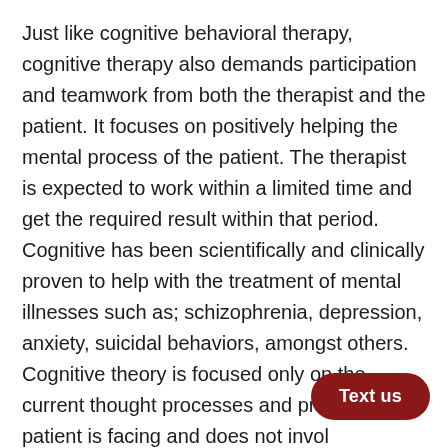Just like cognitive behavioral therapy, cognitive therapy also demands participation and teamwork from both the therapist and the patient. It focuses on positively helping the mental process of the patient. The therapist is expected to work within a limited time and get the required result within that period. Cognitive has been scientifically and clinically proven to help with the treatment of mental illnesses such as; schizophrenia, depression, anxiety, suicidal behaviors, amongst others. Cognitive theory is focused only on the current thought processes and problems the patient is facing and does not involve the past behaviors exhibited by the patient.